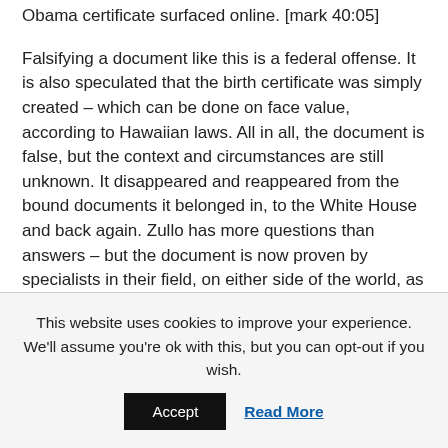Obama certificate surfaced online. [mark 40:05]
Falsifying a document like this is a federal offense. It is also speculated that the birth certificate was simply created – which can be done on face value, according to Hawaiian laws. All in all, the document is false, but the context and circumstances are still unknown. It disappeared and reappeared from the bound documents it belonged in, to the White House and back again. Zullo has more questions than answers – but the document is now proven by specialists in their field, on either side of the world, as fake.
This website uses cookies to improve your experience. We'll assume you're ok with this, but you can opt-out if you wish.
Accept
Read More